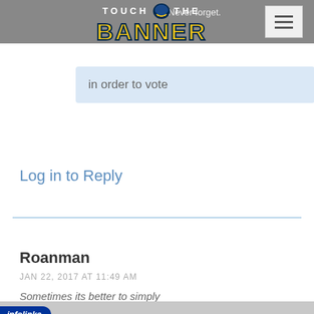Never forget. TOUCH THE BANNER
You must be logged in order to vote
Log in to Reply
Roanman
JAN 22, 2017 AT 11:49 AM
Sometimes its better to simply
[Figure (screenshot): MAC cosmetics advertisement banner with lipsticks, MAC logo, and SHOP NOW button. An infolinks badge appears at top left of the ad.]